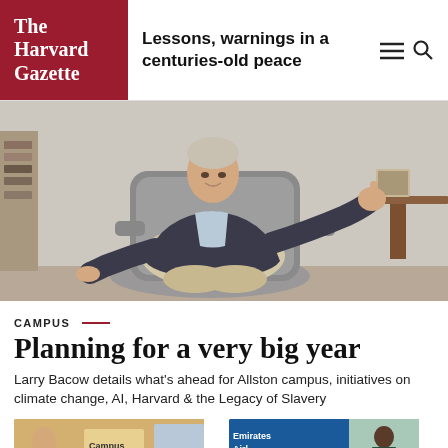The Harvard Gazette
Lessons, warnings in a centuries-old peace
[Figure (photo): Man in dark blazer sitting in upholstered armchair with arms outstretched giving thumbs up gesture, in an office setting]
CAMPUS
Planning for a very big year
Larry Bacow details what's ahead for Allston campus, initiatives on climate change, AI, Harvard & the Legacy of Slavery
[Figure (photo): Thumbnail image left: students or campus scene]
[Figure (photo): Thumbnail image right: Emirates Airlines banner with athlete, tennis or sports context]